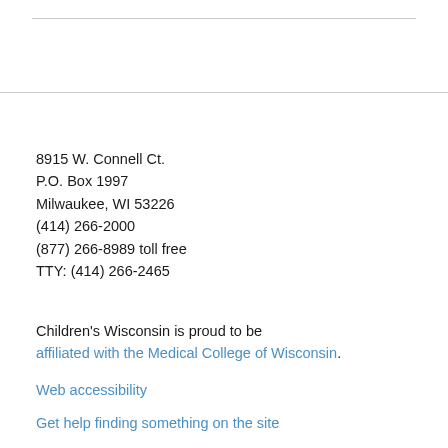8915 W. Connell Ct.
P.O. Box 1997
Milwaukee, WI 53226
(414) 266-2000
(877) 266-8989 toll free
TTY: (414) 266-2465
Children's Wisconsin is proud to be affiliated with the Medical College of Wisconsin.
Web accessibility
Get help finding something on the site